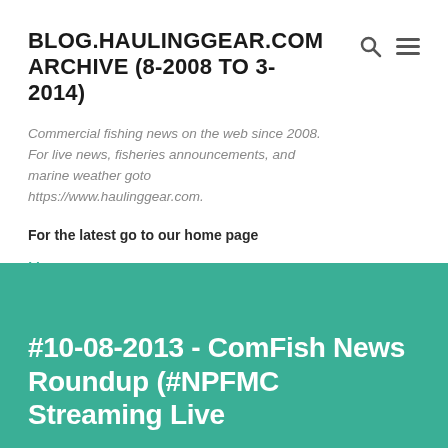BLOG.HAULINGGEAR.COM ARCHIVE (8-2008 TO 3-2014)
Commercial fishing news on the web since 2008. For live news, fisheries announcements, and marine weather goto https://www.haulinggear.com.
For the latest go to our home page
More...
#10-08-2013 - ComFish News Roundup (#NPFMC Streaming Live